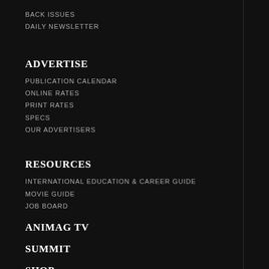BACK ISSUES
DAILY NEWSLETTER
ADVERTISE
PUBLICATION CALENDAR
ONLINE RATES
PRINT RATES
SPECS
OUR ADVERTISERS
RESOURCES
INTERNATIONAL EDUCATION & CAREER GUIDE
MOVIE GUIDE
JOB BOARD
ANIMAG TV
SUMMIT
SHOP